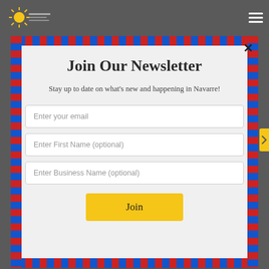[Figure (logo): Navarre Chamber of Commerce logo with sun icon, top left]
Join Our Newsletter
Stay up to date on what's new and happening in Navarre!
Enter your email
Enter First Name (optional)
Enter Business Name (optional)
Join